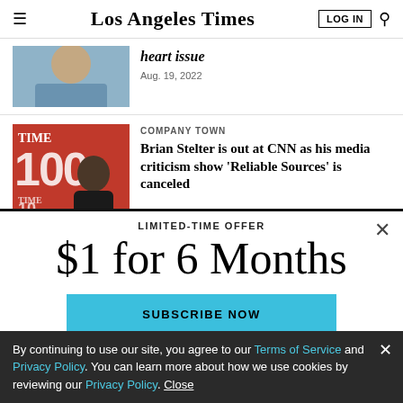Los Angeles Times
[Figure (photo): Partial cropped photo of a person in blue shirt]
heart issue
Aug. 19, 2022
[Figure (photo): Brian Stelter at a TIME 100 event on red background]
COMPANY TOWN
Brian Stelter is out at CNN as his media criticism show ‘Reliable Sources’ is canceled
LIMITED-TIME OFFER
$1 for 6 Months
SUBSCRIBE NOW
By continuing to use our site, you agree to our Terms of Service and Privacy Policy. You can learn more about how we use cookies by reviewing our Privacy Policy. Close